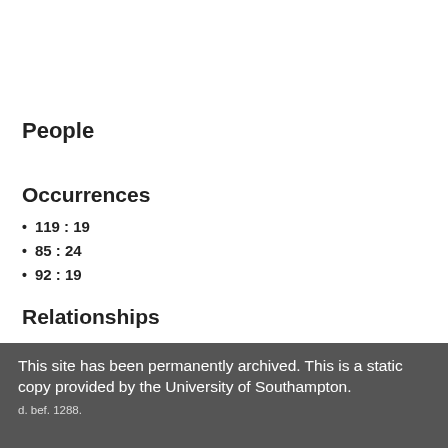People
Occurrences
119 : 19
85 : 24
92 : 19
Relationships
Bielle, Ramon-Duran de, is father of Bielle, Pey de,
This site has been permanently archived. This is a static copy provided by the University of Southampton. d. bef. 1288.